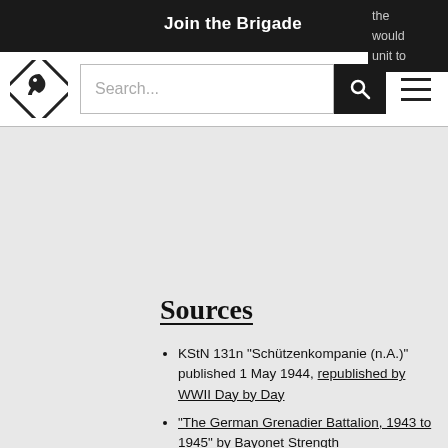Join the Brigade
the would unit to
[Figure (logo): Black diamond-shaped logo with a horse/knight chess piece silhouette inside]
Search...
Sources
KStN 131n "Schützenkompanie (n.A.)" published 1 May 1944, republished by WWII Day by Day
"The German Grenadier Battalion, 1943 to 1945" by Bayonet Strength
"The German Infantry Handbook 1939-